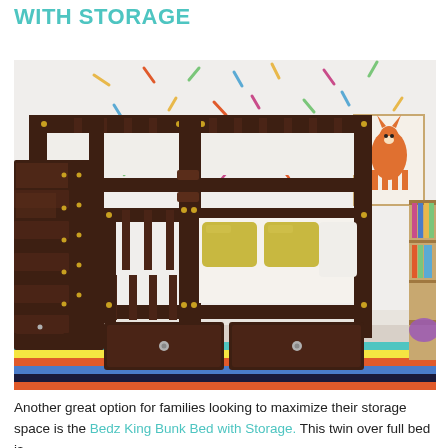WITH STORAGE
[Figure (photo): Dark espresso brown wooden twin-over-full staircase bunk bed with built-in storage drawers under the bottom bunk and stair steps, shown in a kids bedroom with colorful striped rug, patterned wallpaper, yellow accent pillows, and a fox wall art print.]
Another great option for families looking to maximize their storage space is the Bedz King Bunk Bed with Storage. This twin over full bed is